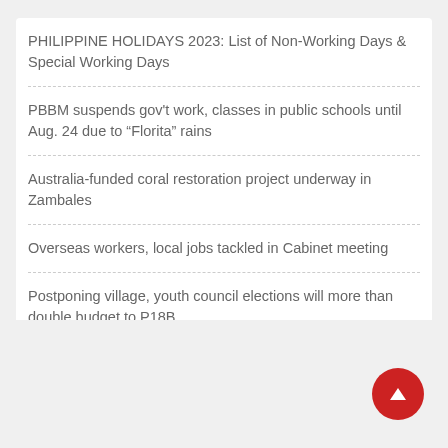PHILIPPINE HOLIDAYS 2023: List of Non-Working Days & Special Working Days
PBBM suspends gov't work, classes in public schools until Aug. 24 due to “Florita” rains
Australia-funded coral restoration project underway in Zambales
Overseas workers, local jobs tackled in Cabinet meeting
Postponing village, youth council elections will more than double budget to P18B